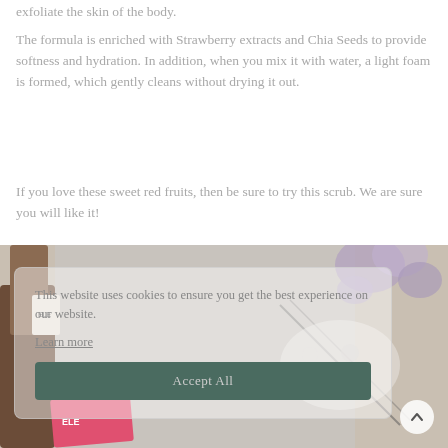exfoliate the skin of the body.
The formula is enriched with Strawberry extracts and Chia Seeds to provide softness and hydration. In addition, when you mix it with water, a light foam is formed, which gently cleans without drying it out.
If you love these sweet red fruits, then be sure to try this scrub. We are sure you will like it!
[Figure (photo): Photograph of beauty/skincare products on a table with flowers and decorative items, partially obscured by a cookie consent overlay]
This website uses cookies to ensure you get the best experience on our website. Learn more Accept All